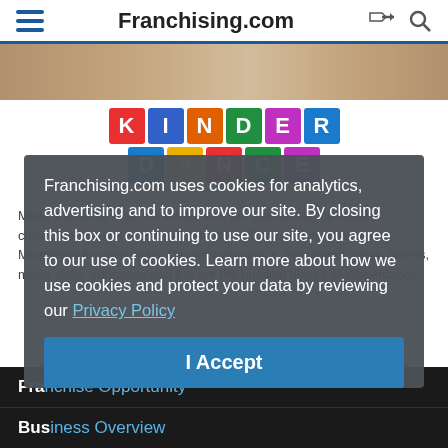Franchising.com
[Figure (photo): Photo strip showing people, partially visible at the top of the page]
[Figure (logo): Kinder Dance International logo with colorful block letters spelling KINDER DANCE]
Make a positive mark on school with our wonderful, top-rated curriculum! Our "Kinder Movin" features Dance, Gymnastics and Movement fundamentals. Dance, gymnastics, movement, yoga, fitness, motor skills, education and fun are the building blocks of Kinderdance.
Franchising.com uses cookies for analytics, advertising and to improve our site. By closing this box or continuing to use our site, you agree to our use of cookies. Learn more about how we use cookies and protect your data by reviewing our Privacy Policy
I Accept
Franchise Opportunity
Business Overview